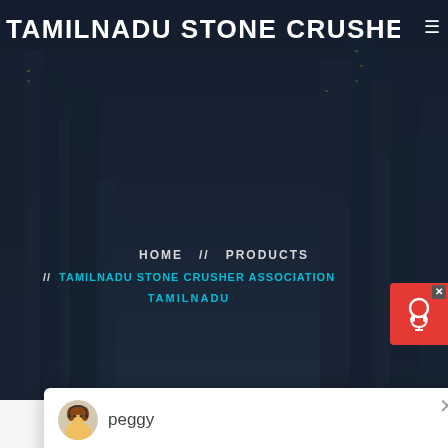[Figure (screenshot): Hero banner with dark cityscape/construction site background for Tamilnadu Stone Crusher Association website]
TAMILNADU STONE CRUSHER A
HOME // PRODUCTS
// TAMILNADU STONE CRUSHER ASSOCIATION
TAMILNADU
[Figure (screenshot): Chat popup with avatar named peggy, message: Welcome, please choose: 1.English 2.Русский 3.Francais 4.Español 5.bahasa Indonesia 6...]
Latest Projects
[Figure (photo): Industrial stone crusher machinery equipment photo]